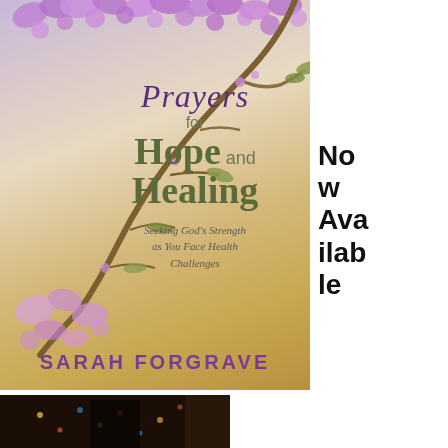[Figure (illustration): Book cover for 'Prayers for Hope and Healing' by Sarah Forgrave. Features purple/lavender flowers and branches on a warm golden-beige background. Title in purple italic script and olive/green sans-serif text. Subtitle: 'Seeking God's Strength as You Face Health Challenges'. Author name in purple at bottom.]
Now Available
[Figure (photo): Partial photo of a person in front of a Christmas tree with lights, darkly lit.]